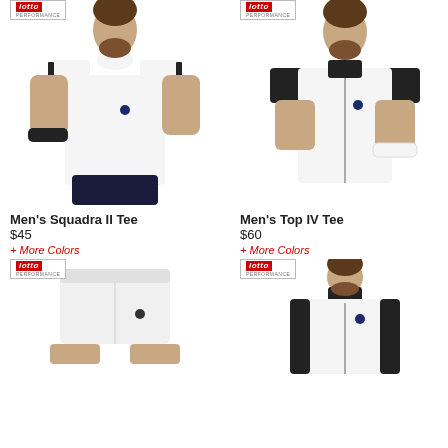[Figure (photo): Man wearing white Lotto Squadra II Tee with dark shorts, Lotto Performance badge top left]
[Figure (photo): Man wearing white and black Lotto Top IV Tee vest jacket, Lotto Performance badge top left]
Men's Squadra II Tee
$45
+ More Colors
Men's Top IV Tee
$60
+ More Colors
[Figure (photo): White Lotto athletic shorts, Lotto Performance badge top left]
[Figure (photo): Man wearing white and black Lotto zip-up jacket, Lotto Performance badge top left]